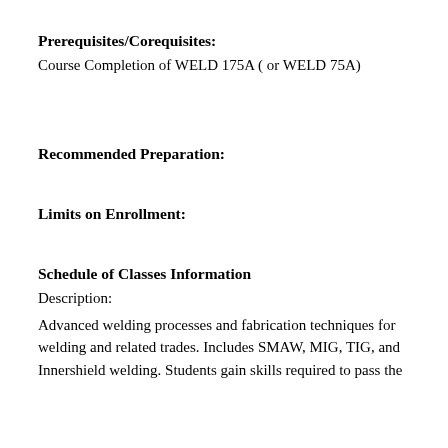Prerequisites/Corequisites:
Course Completion of WELD 175A ( or WELD 75A)
Recommended Preparation:
Limits on Enrollment:
Schedule of Classes Information
Description:
Advanced welding processes and fabrication techniques for welding and related trades. Includes SMAW, MIG, TIG, and Innershield welding. Students gain skills required to pass the